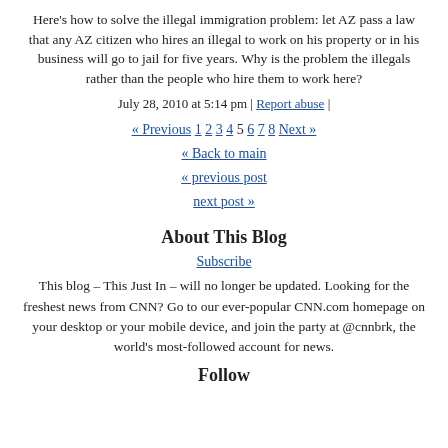Here's how to solve the illegal immigration problem: let AZ pass a law that any AZ citizen who hires an illegal to work on his property or in his business will go to jail for five years. Why is the problem the illegals rather than the people who hire them to work here?
July 28, 2010 at 5:14 pm | Report abuse |
« Previous 1 2 3 4 5 6 7 8 Next » « Back to main « previous post next post »
About This Blog
Subscribe
This blog – This Just In – will no longer be updated. Looking for the freshest news from CNN? Go to our ever-popular CNN.com homepage on your desktop or your mobile device, and join the party at @cnnbrk, the world's most-followed account for news.
Follow